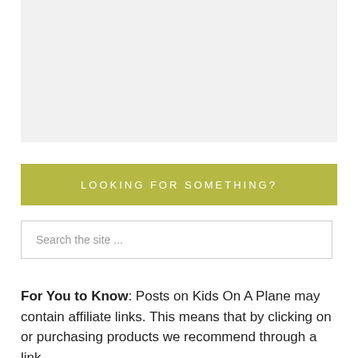[Figure (other): Gray placeholder image box at the top of the page]
LOOKING FOR SOMETHING?
Search the site ...
For You to Know: Posts on Kids On A Plane may contain affiliate links. This means that by clicking on or purchasing products we recommend through a link